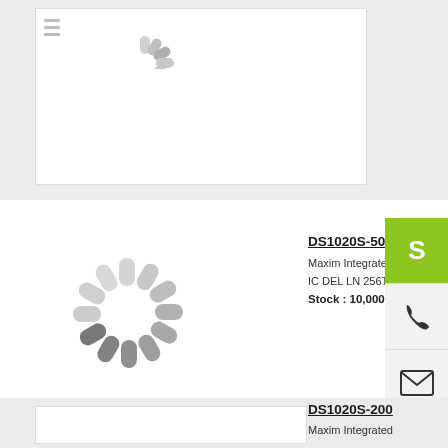[Figure (screenshot): Top product card area with loading spinner and hamburger menu icon, white card on grey background]
DS1020S-50
Maxim Integrate
IC DEL LN 256T
Stock : 10,000
[Figure (screenshot): Loading spinner in center of page (grey radial dashes)]
[Figure (screenshot): Sidebar icons: Skype (green), phone, email, chat, up arrow]
[Figure (screenshot): Bottom product card with grey background and white inner box]
DS1020S-200
Maxim Integrated